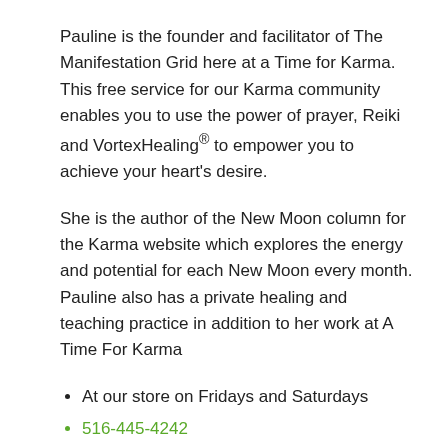Pauline is the founder and facilitator of The Manifestation Grid here at a Time for Karma. This free service for our Karma community enables you to use the power of prayer, Reiki and VortexHealing® to empower you to achieve your heart's desire.
She is the author of the New Moon column for the Karma website which explores the energy and potential for each New Moon every month. Pauline also has a private healing and teaching practice in addition to her work at A Time For Karma
At our store on Fridays and Saturdays
516-445-4242
karmickat@aol.com
$60.00 for half an hour
$100.00 for an hour. You may pay by cash or Pauline can take credit/debit cards through her